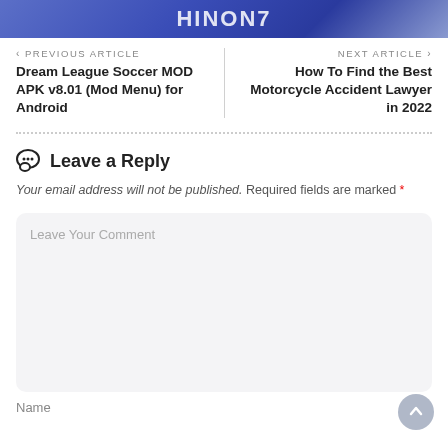[Figure (other): Website header banner with gradient blue background and bold white text logo/title]
< PREVIOUS ARTICLE
Dream League Soccer MOD APK v8.01 (Mod Menu) for Android
NEXT ARTICLE >
How To Find the Best Motorcycle Accident Lawyer in 2022
Leave a Reply
Your email address will not be published. Required fields are marked *
Leave Your Comment
Name